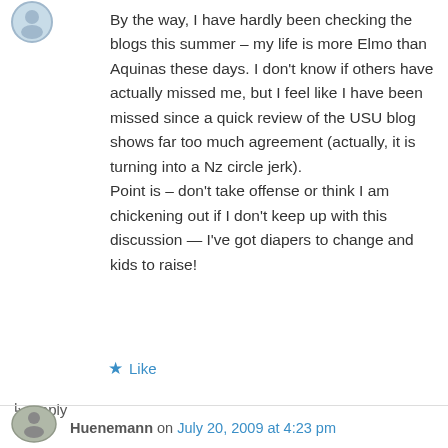[Figure (illustration): Small circular avatar image at top left corner, partially visible]
By the way, I have hardly been checking the blogs this summer – my life is more Elmo than Aquinas these days. I don't know if others have actually missed me, but I feel like I have been missed since a quick review of the USU blog shows far too much agreement (actually, it is turning into a Nz circle jerk).
Point is – don't take offense or think I am chickening out if I don't keep up with this discussion — I've got diapers to change and kids to raise!
★ Like
↳ Reply
[Figure (photo): Small circular avatar image at bottom left, partially visible]
Huenemann on July 20, 2009 at 4:23 pm